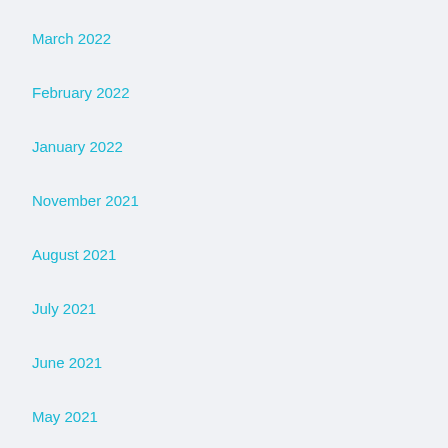March 2022
February 2022
January 2022
November 2021
August 2021
July 2021
June 2021
May 2021
April 2021
March 2021
February 2021
January 2021
December 2020
November 2020
October 2020